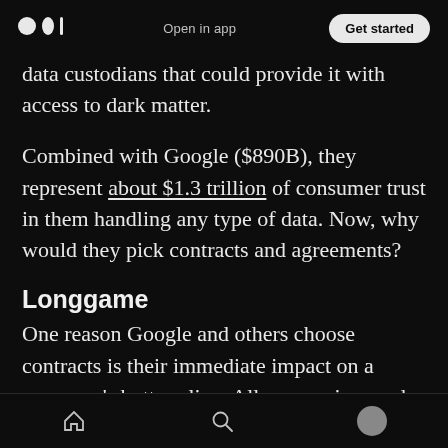Open in app  Get started
data custodians that could provide it with access to dark matter.
Combined with Google ($890B), they represent about $1.3 trillion of consumer trust in them handling any type of data. Now, why would they pick contracts and agreements?
Longgame
One reason Google and others choose contracts is their immediate impact on a company's bottom line. All companies need to track income or manage their spend and most of those numbers
Home  Search  Profile